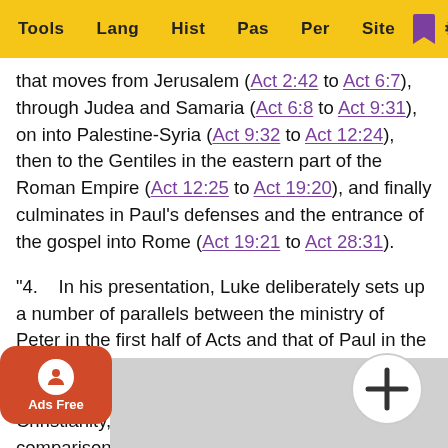Tools | Lang | Hist | Pas | Per | Site
that moves from Jerusalem (Act 2:42 to Act 6:7), through Judea and Samaria (Act 6:8 to Act 9:31), on into Palestine-Syria (Act 9:32 to Act 12:24), then to the Gentiles in the eastern part of the Roman Empire (Act 12:25 to Act 19:20), and finally culminates in Paul's defenses and the entrance of the gospel into Rome (Act 19:21 to Act 28:31).
"4.    In his presentation, Luke deliberately sets up a number of parallels between the ministry of Peter in the first half of Acts and that of Paul in the last half. [Note: W. H. Griffith Thomas, The Acts of the Apostles: Outline Studies in Primitive Christianity, pp. 25-26, offered some helpful comparisons between Peter's ministry and Paul's in Ac... two lists of 16 parallels between Acts 1-12, 13-2... rles H. Talbert, Literary Patterns, Theological Themes, and t... many... Luke...